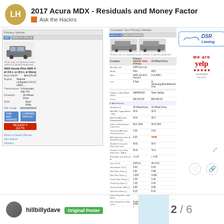2017 Acura MDX - Residuals and Money Factor
Ask the Hackrs
[Figure (screenshot): Vehicle comparison screenshot showing Primary Vehicle (2005 Honda Pilot AWD 4-dr EX-L) with specs and a compare table with another vehicle. Includes tabs, vehicle photo thumbnails, and a detailed specification comparison table with columns for features, All Wheel Entry, and All Wheel Drive.]
[Figure (logo): DSR Leasing logo with blue car silhouette outline and italic text]
[Figure (logo): Yelp badge/logo]
hillbillydave
Original Poster
2 / 6